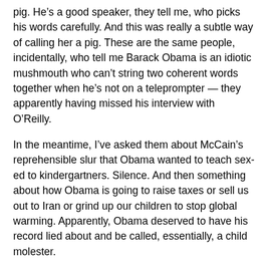pig. He's a good speaker, they tell me, who picks his words carefully. And this was really a subtle way of calling her a pig. These are the same people, incidentally, who tell me Barack Obama is an idiotic mushmouth who can't string two coherent words together when he's not on a teleprompter — they apparently having missed his interview with O'Reilly.
In the meantime, I've asked them about McCain's reprehensible slur that Obama wanted to teach sex-ed to kindergartners. Silence. And then something about how Obama is going to raise taxes or sell us out to Iran or grind up our children to stop global warming. Apparently, Obama deserved to have his record lied about and be called, essentially, a child molester.
I don't mean to pick on conservatives. Liberals do the exact same thing. The people who were telling me that Jeremiah Wright was a non-issue are telling me that Palin's Pentacostal church disqualifies her from being Vice-President.